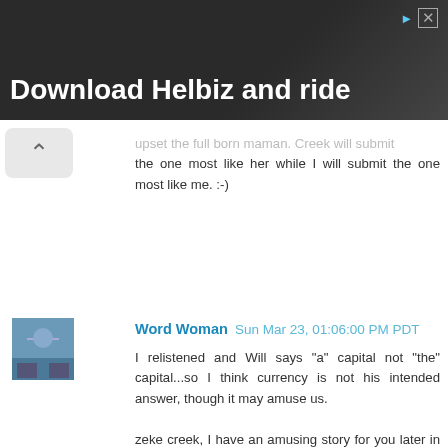[Figure (photo): Advertisement banner: dark background with person on scooter/bike, text 'Download Helbiz and ride' in white bold, with ad close/info icons top right]
upset the full born maman. Creek will submit the one most like her while I will submit the one most like me. :-)
Word Woman  Sun Mar 23, 01:06:00 PM PDT
I relistened and Will says "a" capital not "the" capital...so I think currency is not his intended answer, though it may amuse us.

zeke creek, I have an amusing story for you later in the week ;-).
Reply
zeke creek  Sun Mar 23, 04:51:00 AM PDT
Of course CRAP is an acronym for Chickens Really Are